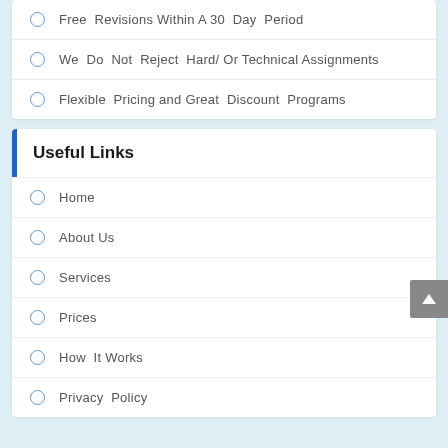Free Revisions Within A 30 Day Period
We Do Not Reject Hard/ Or Technical Assignments
Flexible Pricing and Great Discount Programs
Useful Links
Home
About Us
Services
Prices
How It Works
Privacy Policy